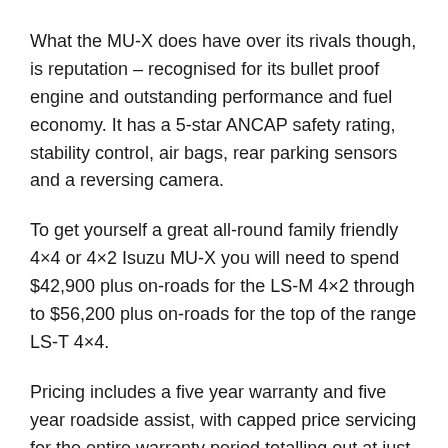What the MU-X does have over its rivals though, is reputation – recognised for its bullet proof engine and outstanding performance and fuel economy. It has a 5-star ANCAP safety rating, stability control, air bags, rear parking sensors and a reversing camera.
To get yourself a great all-round family friendly 4×4 or 4×2 Isuzu MU-X you will need to spend $42,900 plus on-roads for the LS-M 4×2 through to $56,200 plus on-roads for the top of the range LS-T 4×4.
Pricing includes a five year warranty and five year roadside assist, with capped price servicing for the entire warranty period totalling out at just $2,090 over 60 months.
For the first time ever, it's available in Magnetic Red Mica, as